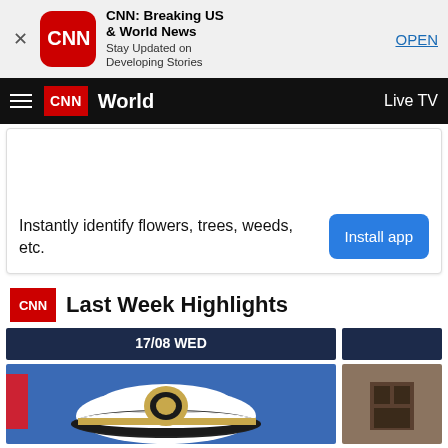[Figure (screenshot): CNN app advertisement banner with red CNN logo icon, bold title 'CNN: Breaking US & World News', subtitle 'Stay Updated on Developing Stories', and blue OPEN link]
CNN World   Live TV
[Figure (screenshot): Advertisement card: 'Instantly identify flowers, trees, weeds, etc.' with blue 'Install app' button]
Last Week Highlights
17/08 WED
[Figure (photo): Navy officer cap with gold insignia on blue background, partial US flag visible]
[Figure (photo): Small thumbnail photo on right side - partially visible brown/rustic scene]